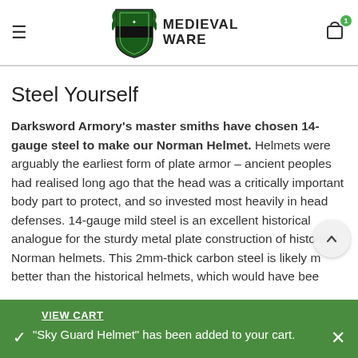Medieval Ware (logo header with hamburger menu and cart icon showing 1 item)
Steel Yourself
Darksword Armory's master smiths have chosen 14-gauge steel to make our Norman Helmet. Helmets were arguably the earliest form of plate armor – ancient peoples had realised long ago that the head was a critically important body part to protect, and so invested most heavily in head defenses. 14-gauge mild steel is an excellent historical analogue for the sturdy metal plate construction of historical Norman helmets. This 2mm-thick carbon steel is likely m… better than the historical helmets, which would have bee…
VIEW CART
"Sky Guard Helmet" has been added to your cart.